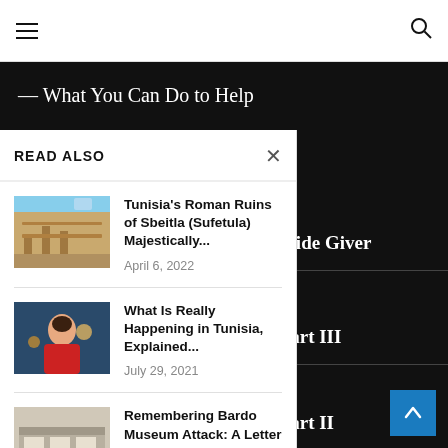Navigation bar with hamburger menu and search icon
— What You Can Do to Help
READ ALSO
Tunisia's Roman Ruins of Sbeitla (Sufetula) Majestically... April 6, 2022
beur, the Pride Giver
What Is Really Happening in Tunisia, Explained... July 29, 2021
the Past | Part III
Remembering Bardo Museum Attack: A Letter
the Past | Part II